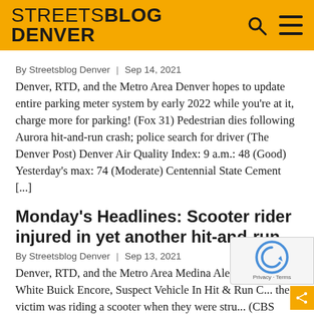STREETSBLOG DENVER
By Streetsblog Denver | Sep 14, 2021
Denver, RTD, and the Metro Area Denver hopes to update entire parking meter system by early 2022 while you're at it, charge more for parking! (Fox 31) Pedestrian dies following Aurora hit-and-run crash; police search for driver (The Denver Post) Denver Air Quality Index: 9 a.m.: 48 (Good) Yesterday's max: 74 (Moderate) Centennial State Cement [...]
Monday's Headlines: Scooter rider injured in yet another hit-and-run
By Streetsblog Denver | Sep 13, 2021
Denver, RTD, and the Metro Area Medina Alert Issued For White Buick Encore, Suspect Vehicle In Hit & Run C... the victim was riding a scooter when they were stru... (CBS Denver) Son mourns loss of construction flagge...